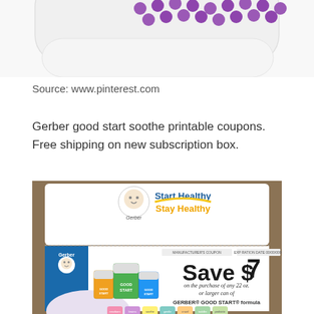[Figure (photo): Partial view of a baby product with purple polka dot pattern on white background, cropped at top]
Source: www.pinterest.com
Gerber good start soothe printable coupons. Free shipping on new subscription box.
[Figure (photo): Gerber Good Start coupon showing 'Start Healthy Stay Healthy' logo at top and 'Save $7 on the purchase of any 22 oz. or larger can of GERBER GOOD START formula' coupon below, with product cans and colorful category icons at bottom]